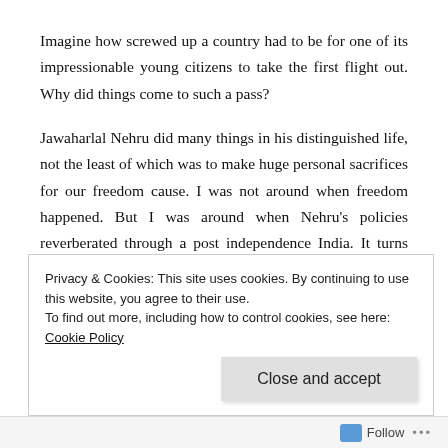Imagine how screwed up a country had to be for one of its impressionable young citizens to take the first flight out. Why did things come to such a pass?
Jawaharlal Nehru did many things in his distinguished life, not the least of which was to make huge personal sacrifices for our freedom cause. I was not around when freedom happened. But I was around when Nehru's policies reverberated through a post independence India. It turns out that Nehru made a bad bet. His wager on socialism was a costly one which sentenced the citizens of his country to spend 50 years in dark and gloomy shadows. It was a bet which led an impressionable young college student to catch the first flight out.
Privacy & Cookies: This site uses cookies. By continuing to use this website, you agree to their use.
To find out more, including how to control cookies, see here: Cookie Policy
Close and accept
Follow ...